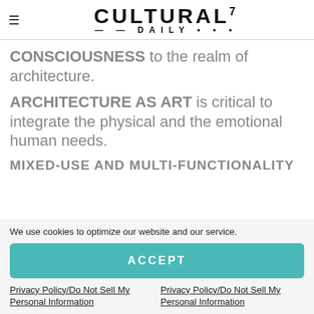CULTURAL7 —–DAILY•••
CONSCIOUSNESS to the realm of architecture.
ARCHITECTURE AS ART is critical to integrate the physical and the emotional human needs.
MIXED-USE AND MULTI-FUNCTIONALITY
We use cookies to optimize our website and our service.
ACCEPT
Privacy Policy/Do Not Sell My Personal Information
Privacy Policy/Do Not Sell My Personal Information